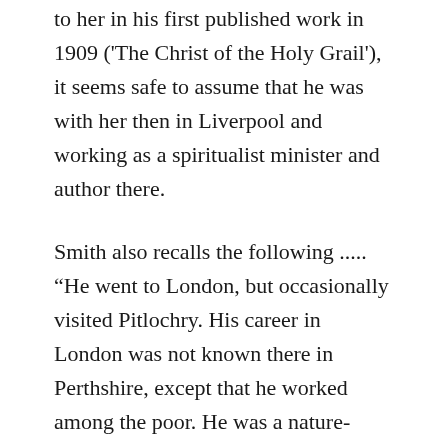to her in his first published work in 1909 ('The Christ of the Holy Grail'), it seems safe to assume that he was with her then in Liverpool and working as a spiritualist minister and author there.
Smith also recalls the following ..... “He went to London, but occasionally visited Pitlochry. His career in London was not known there in Perthshire, except that he worked among the poor. He was a nature-lover, a wanderer among woods and hills, a shade eccentric perhaps, author of a number of books, mainly religious, and added Macbeth as another middle name for these publications. I can recall only two incidents involving James and